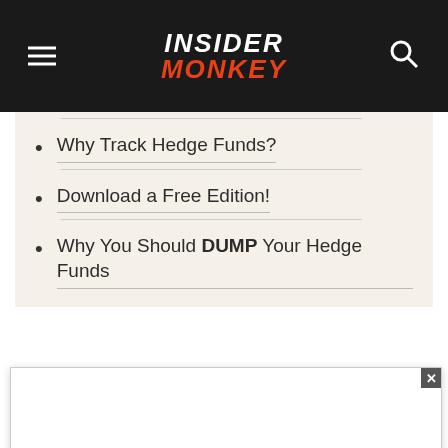INSIDER MONKEY
Why Track Hedge Funds?
Download a Free Edition!
Why You Should DUMP Your Hedge Funds
[Figure (logo): TD Ameritrade logo on dark green background]